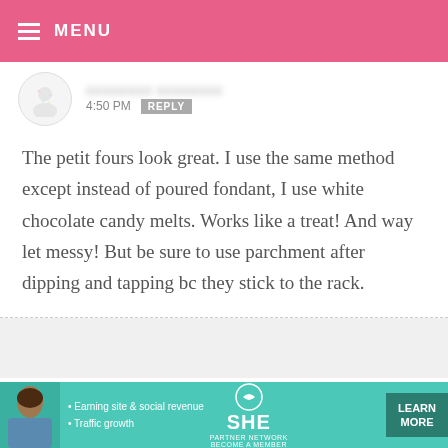MENU
4:50 PM  REPLY
The petit fours look great. I use the same method except instead of poured fondant, I use white chocolate candy melts. Works like a treat! And way let messy! But be sure to use parchment after dipping and tapping bc they stick to the rack.
DEBBIE — JULY 28, 2009 @ 4:22 PM  REPLY
[Figure (infographic): SHE partner network advertisement banner with teal background, bullet points about earning site & social revenue and traffic growth, SHE logo, and Learn More button]